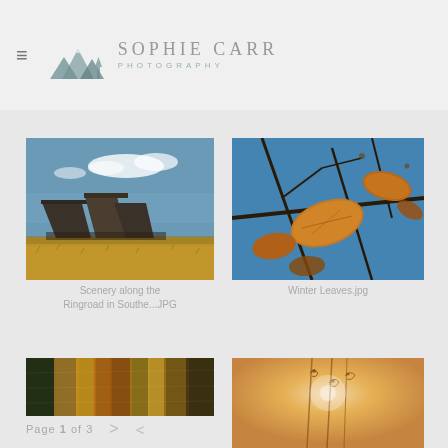Sophie Carr Photography
[Figure (photo): Desert landscape with rock formations and dry grassland under blue sky - Scenery along the Ringroad in Southe...JPG]
Scenery along the Ringroad in Southe...JPG
[Figure (photo): Close-up of autumn/winter leaves on bare branches against blue sky - Winter Leaves.jpg]
Winter Leaves.jpg
[Figure (photo): Partially visible bottom-left thumbnail showing colorful foliage]
[Figure (photo): Partially visible bottom-right photo showing backlit plant stems in warm light]
Page 1 of 3